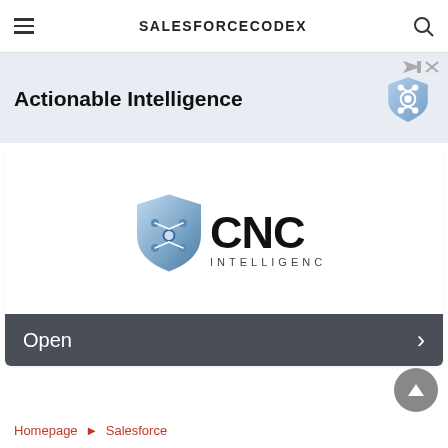SALESFORCECODEX
[Figure (other): Advertisement banner with text 'Actionable Intelligence' and a CNC Intelligence shield logo on the right, on a light blue-gray background, with close/skip ad controls in the top right corner.]
[Figure (logo): CNC Intelligence logo: a blue metallic shield with stylized S/network node icon on the left, large bold 'CNC' text in black, and 'INTELLIGENCE' in spaced letters below, all on white background. Below is a dark gray bar with 'Open' text and a right arrow chevron.]
Homepage ► Salesforce